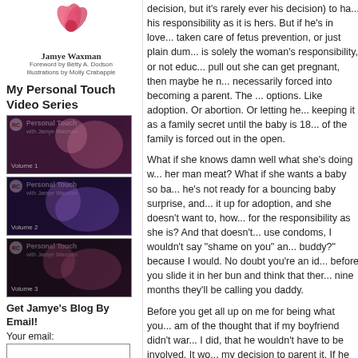[Figure (illustration): Pink flower illustration above author name]
Jamye Waxman
Foreword by Betty A. Dodson
Illustrations by Molly Crabapple
My Personal Touch Video Series
[Figure (photo): Stack of three 'Personal Touch with Jamye Waxman' video cover images]
Get Jamye's Blog By Email!
Your email:
Subscribe
Unsubscribe
Send
decision, but it's rarely ever his decision) to ha... his responsibility as it is hers. But if he's in love... taken care of fetus prevention, or just plain dum... is solely the woman's responsibility, or not educ... pull out she can get pregnant, then maybe he n... necessarily forced into becoming a parent. The ... options. Like adoption. Or abortion. Or letting he... keeping it as a family secret until the baby is 18... of the family is forced out in the open.
What if she knows damn well what she's doing w... her man meat? What if she wants a baby so ba... he's not ready for a bouncing baby surprise, and... it up for adoption, and she doesn't want to, how... for the responsibility as she is? And that doesn't... use condoms, I wouldn't say "shame on you" an... buddy?" because I would. No doubt you're an id... before you slide it in her bun and think that ther... nine months they'll be calling you daddy.
Before you get all up on me for being what you... am of the thought that if my boyfriend didn't war... I did, that he wouldn't have to be involved. It wo... my decision to parent it. If he wanted it, but I di... So when is it solely his decision? Because odds... didn't want it, well, unless it was his last chance... own and he desperately, die-ingly wanted to be... decision and her body, and it's so often not abo... baby, and she can't be talked out of having it or... okay with it?
It's important to note that no vasectomy should... procedure. It's not all that expensive to get do...